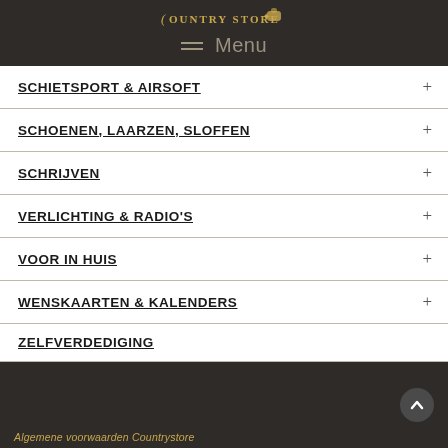Country Store — Menu header
SCHIETSPORT & AIRSOFT
SCHOENEN, LAARZEN, SLOFFEN
SCHRIJVEN
VERLICHTING & RADIO'S
VOOR IN HUIS
WENSKAARTEN & KALENDERS
ZELFVERDEDIGING
Algemene voorwaarden Countrystore